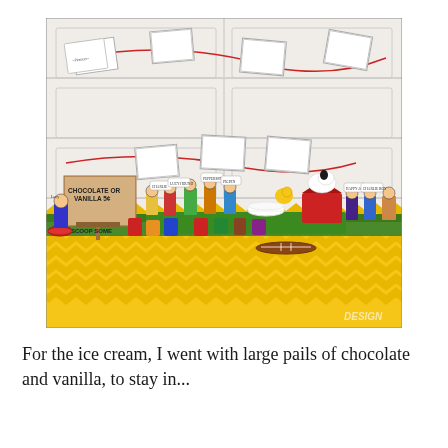[Figure (photo): A Peanuts-themed ice cream party table set up in a garage. A garland of Peanuts comic strip panels hangs across a white garage door. A brown cardboard sign reads 'CHOCOLATE OR VANILLA 5¢' and 'SCOOP SOME'. Cutout figures of Peanuts characters (Lucy, Charlie Brown, Snoopy, Woodstock, Schroeder, etc.) are arranged on a table covered with a yellow chevron tablecloth and green grass mat. Various party items including red bowls, colorful cups, and treats are on the table. A stuffed Snoopy plush sits on his red doghouse. A watermark 'DESIGN' is visible in the bottom right corner.]
For the ice cream, I went with large pails of chocolate and vanilla, to stay in...